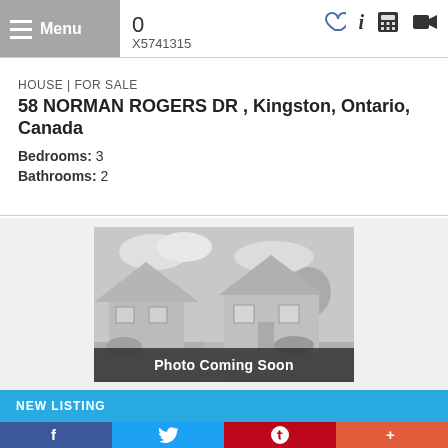Menu | X5741315 | icons: info, calculator, video, heart
HOUSE | FOR SALE
58 NORMAN ROGERS DR , Kingston, Ontario, Canada
Bedrooms: 3
Bathrooms: 2
[Figure (photo): Grayscale house photo placeholder with 'Photo Coming Soon' overlay text]
NEW LISTING
Social share bar: Facebook, Twitter, Pinterest, Plus